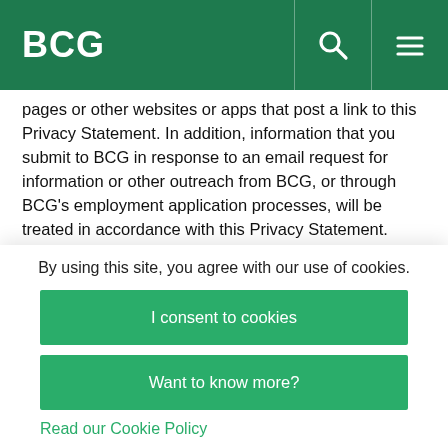BCG
pages or other websites or apps that post a link to this Privacy Statement. In addition, information that you submit to BCG in response to an email request for information or other outreach from BCG, or through BCG’s employment application processes, will be treated in accordance with this Privacy Statement.
BCG may, in its discretion, amend this Privacy Statement from time to time. To ensure you are able to remain
By using this site, you agree with our use of cookies.
I consent to cookies
Want to know more?
Read our Cookie Policy